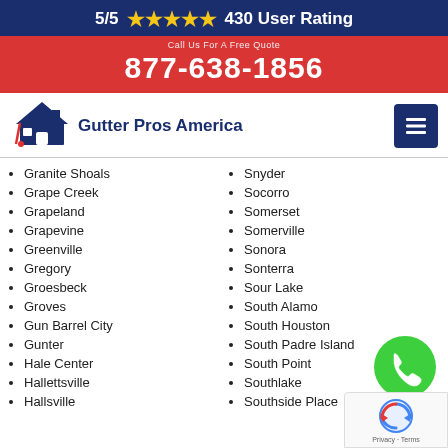5/5 ★★★★★ 430 User Rating
877-638-1856
[Figure (logo): Gutter Pros America logo with house/roof icon]
Granite Shoals
Grape Creek
Grapeland
Grapevine
Greenville
Gregory
Groesbeck
Groves
Gun Barrel City
Gunter
Hale Center
Hallettsville
Hallsville
Snyder
Socorro
Somerset
Somerville
Sonora
Sonterra
Sour Lake
South Alamo
South Houston
South Padre Island
South Point
Southlake
Southside Place